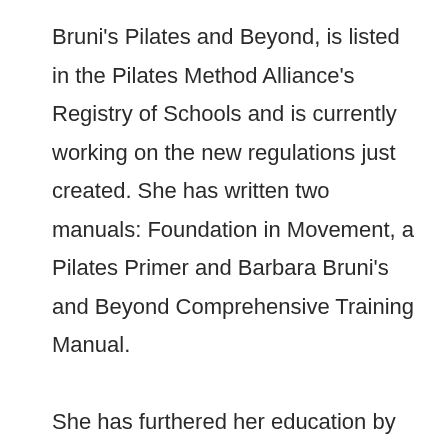Bruni's Pilates and Beyond, is listed in the Pilates Method Alliance's Registry of Schools and is currently working on the new regulations just created. She has written two manuals: Foundation in Movement, a Pilates Primer and Barbara Bruni's and Beyond Comprehensive Training Manual.

She has furthered her education by taking continuing education courses with some of her favorite teachers including Brent Anderson, Rebecca Leone and Madeline Black. Some of these